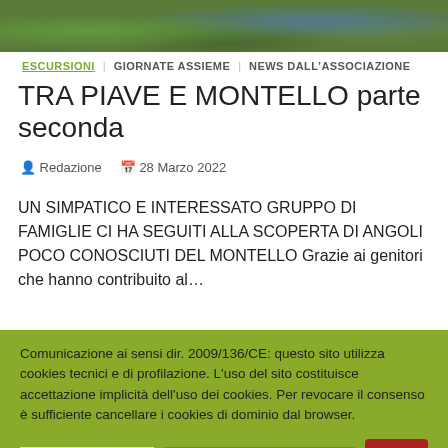[Figure (photo): Photograph strip showing green plants and blue flowers, likely a nature/outdoor scene]
ESCURSIONI   GIORNATE ASSIEME   NEWS DALL'ASSOCIAZIONE
TRA PIAVE E MONTELLO parte seconda
Redazione   28 Marzo 2022
UN SIMPATICO E INTERESSATO GRUPPO DI FAMIGLIE CI HA SEGUITI ALLA SCOPERTA DI ANGOLI POCO CONOSCIUTI DEL MONTELLO Grazie ai genitori che hanno contribuito al…
Comunicazione ai sensi dir. 2009/136/CE: questo sito utilizza cookies tecnici e di profilazione. L'uso del sito costituisce accettazione implicità dell'uso dei cookies. Per revocare il consenso è sufficiente cancellare i cookies di dominio dal browser.
Cookie Settings   ACCETTO TUTTI   TOP